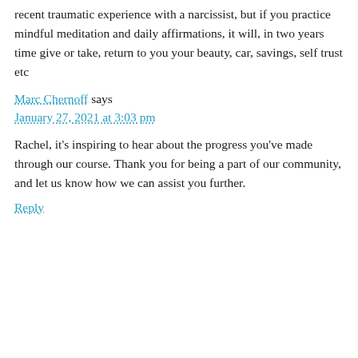recent traumatic experience with a narcissist, but if you practice mindful meditation and daily affirmations, it will, in two years time give or take, return to you your beauty, car, savings, self trust etc
Marc Chernoff says
January 27, 2021 at 3:03 pm
Rachel, it's inspiring to hear about the progress you've made through our course. Thank you for being a part of our community, and let us know how we can assist you further.
Reply